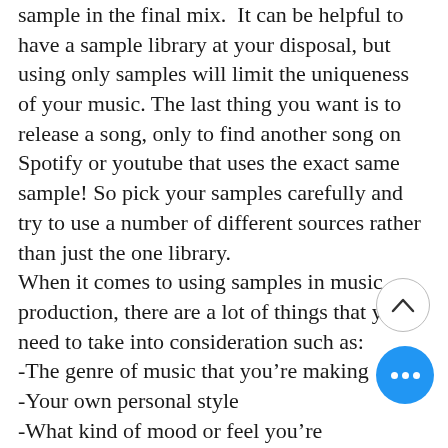sample in the final mix.  It can be helpful to have a sample library at your disposal, but using only samples will limit the uniqueness of your music. The last thing you want is to release a song, only to find another song on Spotify or youtube that uses the exact same sample! So pick your samples carefully and try to use a number of different sources rather than just the one library.
When it comes to using samples in music production, there are a lot of things that you need to take into consideration such as:
-The genre of music that you're making
-Your own personal style
-What kind of mood or feel you're